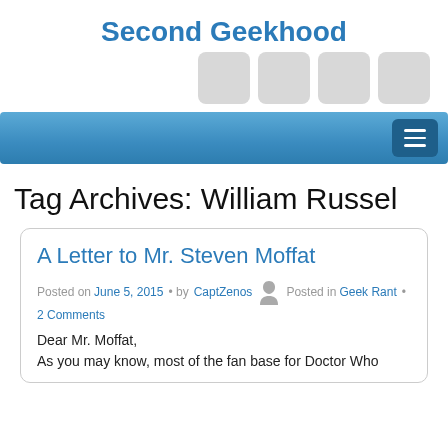Second Geekhood
[Figure (screenshot): Navigation menu icons - four gray rounded square buttons]
[Figure (screenshot): Blue navigation bar with hamburger menu button on the right]
Tag Archives: William Russel
A Letter to Mr. Steven Moffat
Posted on June 5, 2015 • by CaptZenos Posted in Geek Rant • 2 Comments
Dear Mr. Moffat,
As you may know, most of the fan base for Doctor Who